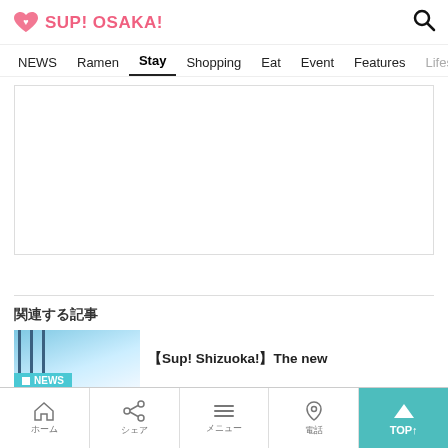SUP! OSAKA!
NEWS  Ramen  Stay  Shopping  Eat  Event  Features  Lifestyle
[Figure (other): Advertisement placeholder box, white background with light border]
関連する記事
[Figure (photo): Thumbnail image with vertical lines and sky/building background, NEWS badge overlay]
【Sup! Shizuoka!】The new